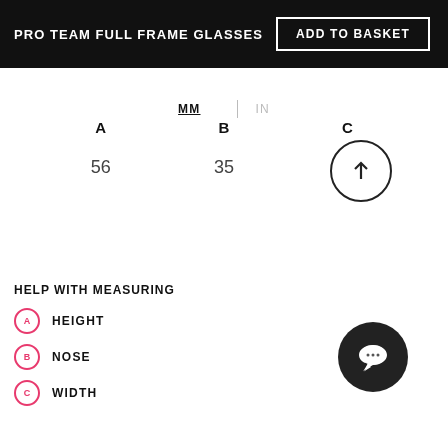PRO TEAM FULL FRAME GLASSES
ADD TO BASKET
MM | IN
| A | B | C |
| --- | --- | --- |
| 56 | 35 | 146 |
HELP WITH MEASURING
A HEIGHT
B NOSE
C WIDTH